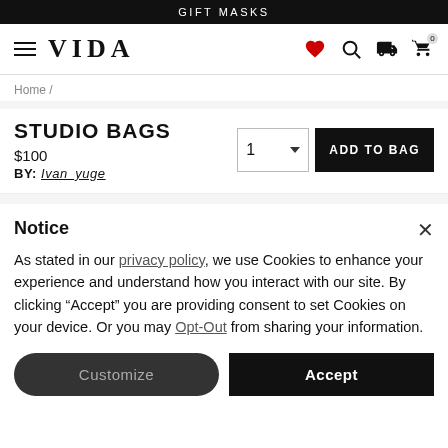GIFT MASKS
[Figure (logo): VIDA logo with hamburger menu icon]
Home /
STUDIO BAGS
$100
BY: Ivan_yuge
Notice
As stated in our privacy policy, we use Cookies to enhance your experience and understand how you interact with our site. By clicking "Accept" you are providing consent to set Cookies on your device. Or you may Opt-Out from sharing your information.
Customize
Accept